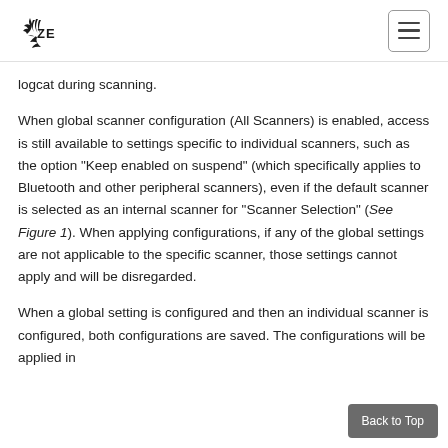ZEBRA
logcat during scanning.
When global scanner configuration (All Scanners) is enabled, access is still available to settings specific to individual scanners, such as the option “Keep enabled on suspend” (which specifically applies to Bluetooth and other peripheral scanners), even if the default scanner is selected as an internal scanner for “Scanner Selection” (See Figure 1). When applying configurations, if any of the global settings are not applicable to the specific scanner, those settings cannot apply and will be disregarded.
When a global setting is configured and then an individual scanner is configured, both configurations are saved. The configurations will be applied in